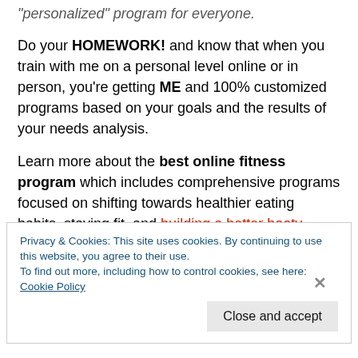personalized program for everyone.
Do your HOMEWORK! and know that when you train with me on a personal level online or in person, you're getting ME and 100% customized programs based on your goals and the results of your needs analysis.
Learn more about the best online fitness program which includes comprehensive programs focused on shifting towards healthier eating habits, staying fit, and building a better booty. You'll also find a variety of fitness apparel to help get you that extra motivation to take your goals to another level. Contact
Privacy & Cookies: This site uses cookies. By continuing to use this website, you agree to their use.
To find out more, including how to control cookies, see here: Cookie Policy
Close and accept